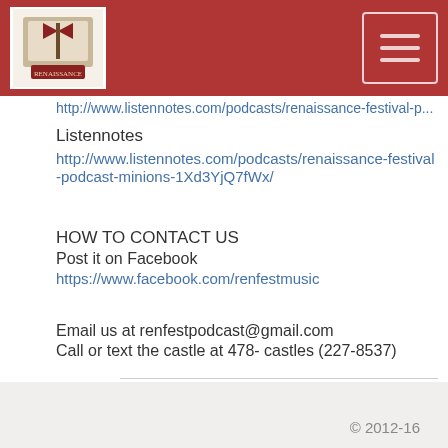Renaissance Festival Podcast logo and navigation menu
Listennotes
http://www.listennotes.com/podcasts/renaissance-festival-podcast-minions-1Xd3YjQ7fWx/
HOW TO CONTACT US
Post it on Facebook
https://www.facebook.com/renfestmusic
Email us at renfestpodcast@gmail.com
Call or text the castle at 478- castles (227-8537)
© 2012-16